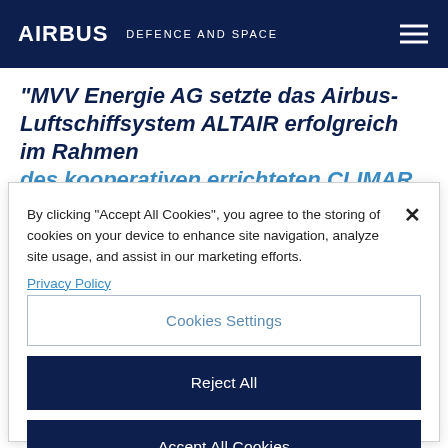AIRBUS   DEFENCE AND SPACE
"MVV Energie AG setzte das Airbus-Luftschiffsystem ALTAIR erfolgreich im Rahmen des ...
By clicking “Accept All Cookies”, you agree to the storing of cookies on your device to enhance site navigation, analyze site usage, and assist in our marketing efforts.
Privacy Policy
Cookies Settings
Reject All
Accept All Cookies